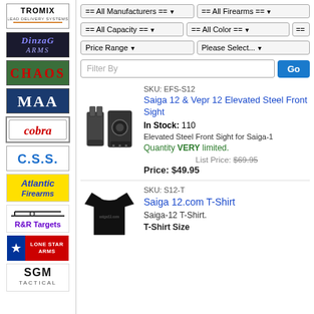[Figure (logo): Tromix Lead Delivery Systems logo]
[Figure (logo): Dinzag Arms logo]
[Figure (logo): Chaos logo]
[Figure (logo): MAA logo]
[Figure (logo): Cobra logo]
[Figure (logo): C.S.S. logo]
[Figure (logo): Atlantic Firearms logo]
[Figure (logo): R&R Targets logo]
[Figure (logo): Lone Star Arms logo]
[Figure (logo): SGM Tactical logo]
== All Manufacturers == == All Firearms ==
== All Capacity == == All Color == ==
Price Range Please Select...
Filter By Go
SKU: EFS-S12
Saiga 12 & Vepr 12 Elevated Steel Front Sight
In Stock: 110
[Figure (photo): Elevated steel front sight product photo]
Elevated Steel Front Sight for Saiga-1
Quantity VERY limited.
List Price: $69.95
Price: $49.95
SKU: S12-T
Saiga 12.com T-Shirt
[Figure (photo): Black T-shirt product photo]
Saiga-12 T-Shirt.
T-Shirt Size